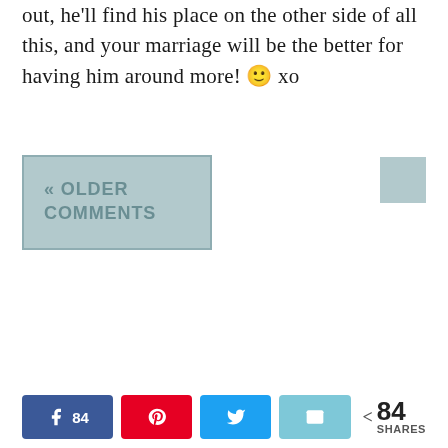out, he'll find his place on the other side of all this, and your marriage will be the better for having him around more! 🙂 xo
« OLDER COMMENTS
84 shares — Facebook 84, Pinterest, Twitter, Email